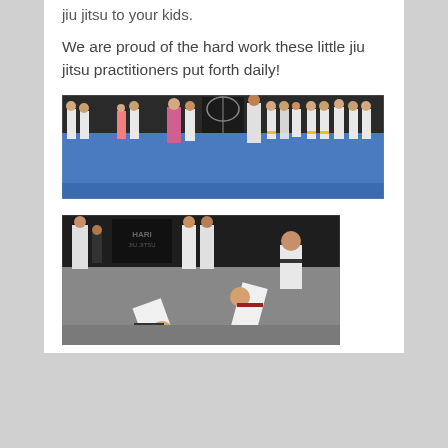jiu jitsu to your kids.
We are proud of the hard work these little jiu jitsu practitioners put forth daily!
[Figure (photo): Children in white jiu jitsu gis and colored belts lined up along a blue mat in a martial arts studio, with a banner visible on the wall.]
[Figure (photo): Two young children in white jiu jitsu gis bowing to each other on a gray mat, with other students and an instructor visible in the background against a dark wall with a logo.]